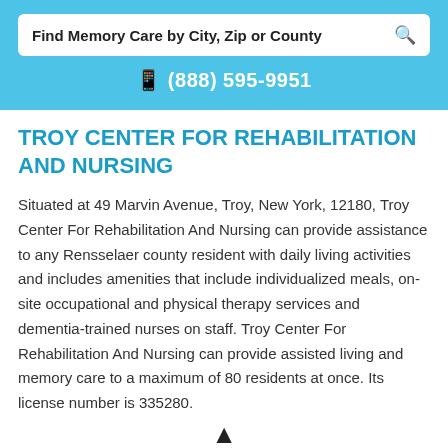Find Memory Care by City, Zip or County
(888) 595-9951
TROY CENTER FOR REHABILITATION AND NURSING
Situated at 49 Marvin Avenue, Troy, New York, 12180, Troy Center For Rehabilitation And Nursing can provide assistance to any Rensselaer county resident with daily living activities and includes amenities that include individualized meals, on-site occupational and physical therapy services and dementia-trained nurses on staff. Troy Center For Rehabilitation And Nursing can provide assisted living and memory care to a maximum of 80 residents at once. Its license number is 335280.